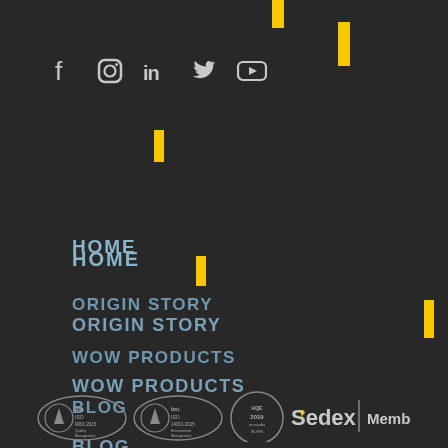[Figure (other): Social media icons: Facebook, Instagram, LinkedIn, Twitter, YouTube]
HOME
ORIGIN STORY
WOW PRODUCTS
BLOG
VIDEOS
CATALOGUE
CONTACT
[Figure (logo): BSI ISO 9001:2015 Quality Management certification logo, BSI ISO 14001:2015 Environmental Management certification logo, EcoVadis 2019 certification logo, Sedex Member logo]